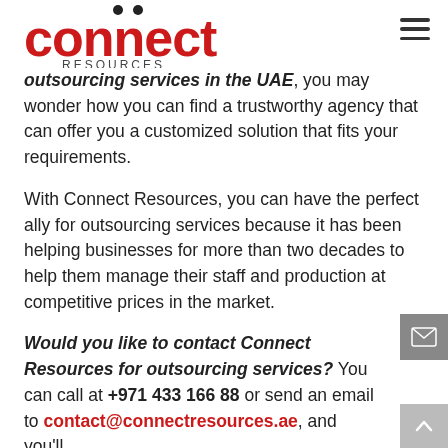[Figure (logo): Connect Resources logo — red text with two dots above the double-n]
outsourcing services in the UAE, you may wonder how you can find a trustworthy agency that can offer you a customized solution that fits your requirements.
With Connect Resources, you can have the perfect ally for outsourcing services because it has been helping businesses for more than two decades to help them manage their staff and production at competitive prices in the market.
Would you like to contact Connect Resources for outsourcing services? You can call at +971 433 166 88 or send an email to contact@connectresources.ae, and you'll